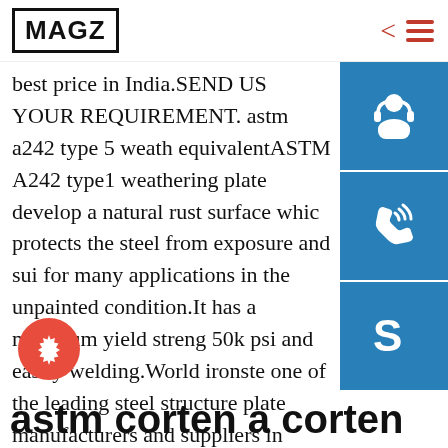MAGZ
best price in India.SEND US YOUR REQUIREMENT. astm a242 type 5 weathering equivalentASTM A242 type1 weathering plate develop a natural rust surface which protects the steel from exposure and suitable for many applications in the unpainted condition.It has a minimum yield strength 50k psi and easily welding.World ironste one of the leading steel structure plate manufacturers and suppliers in China.ASTM A575 Grade
astm corten a corten